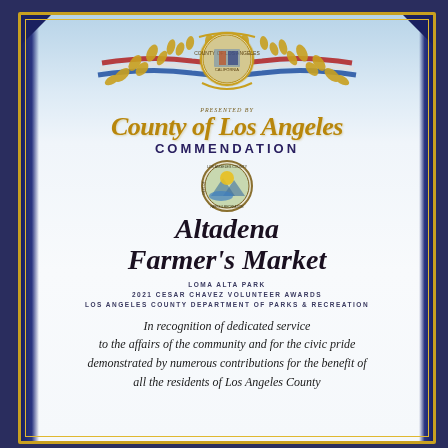[Figure (illustration): County of Los Angeles seal with decorative gold laurel branches, ribbons in red, white and blue, flanking the seal at top center of commendation certificate]
County of Los Angeles COMMENDATION
[Figure (logo): Los Angeles County Department of Parks and Recreation circular seal]
Altadena Farmer's Market
LOMA ALTA PARK
2021 CESAR CHAVEZ VOLUNTEER AWARDS
LOS ANGELES COUNTY DEPARTMENT OF PARKS & RECREATION
In recognition of dedicated service to the affairs of the community and for the civic pride demonstrated by numerous contributions for the benefit of all the residents of Los Angeles County